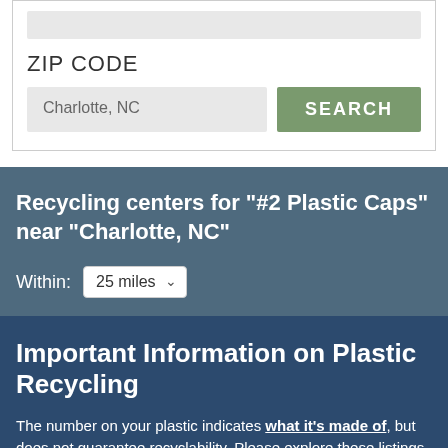ZIP CODE
Charlotte, NC
SEARCH
Recycling centers for "#2 Plastic Caps" near "Charlotte, NC"
Within: 25 miles
Important Information on Plastic Recycling
The number on your plastic indicates what it's made of, but does not guarantee recyclability. Please explore these listings further before you recycle.